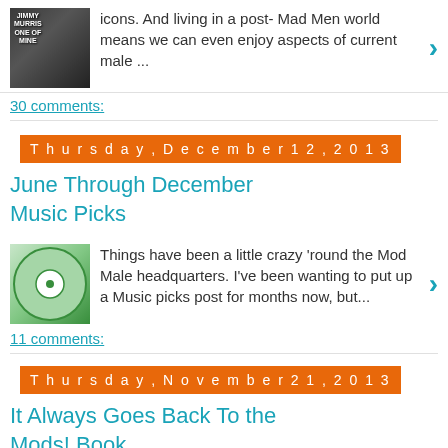icons. And living in a post- Mad Men world means we can even enjoy aspects of current male ...
30 comments:
Thursday, December 12, 2013
June Through December Music Picks
Things have been a little crazy 'round the Mod Male headquarters. I've been wanting to put up a Music picks post for months now, but...
11 comments:
Thursday, November 21, 2013
It Always Goes Back To the Mods! Book
This isn't actually the post I intended to write today. I was working on a completely different subject, but found myself leafing throug...